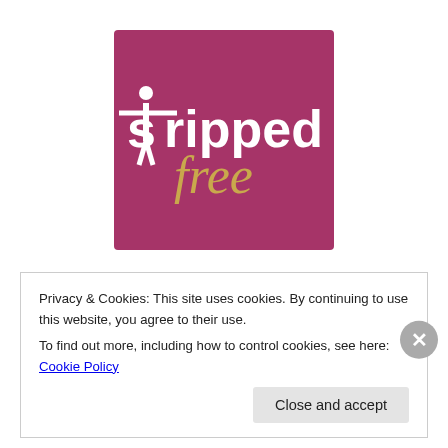[Figure (logo): Stripped Free blog logo — dark pink/magenta square with white bold text 'stripped' (with female silhouette as the 't') and gold italic cursive 'free' below]
Friends, I've been overwhelmed in the best way by the response to my original blog, Bunnies, Virgins and Real
Privacy & Cookies: This site uses cookies. By continuing to use this website, you agree to their use.
To find out more, including how to control cookies, see here: Cookie Policy
Close and accept